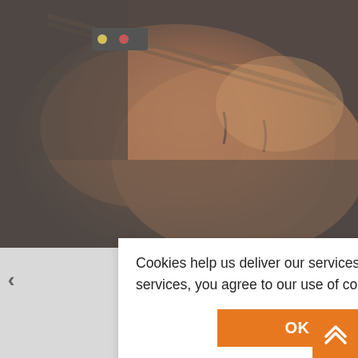[Figure (photo): Close-up photo of a violin and bow being played, warm reddish-brown tones with blurred background]
Cookies help us deliver our services. By using our services, you agree to our use of cookies.
OK
Learn more
[Figure (photo): Man playing violin in a pub/restaurant setting]
[Figure (photo): Sheet music on a music stand with instrument parts visible]
[Figure (photo): Group of musicians in a dimly lit venue]
[Figure (photo): Orchestra or ensemble group photo in formal black attire]
[Figure (photo): Musicians performing in a venue]
[Figure (photo): Young musicians group photo]